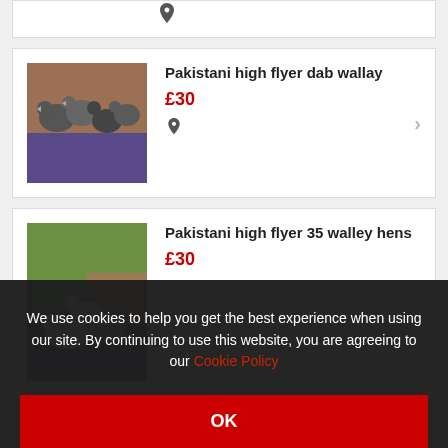[Figure (photo): Partial listing card with location pin icon visible at top]
[Figure (photo): Photo of Pakistani high flyer pigeons on purple/green surface]
Pakistani high flyer dab wallay
£30
[Figure (photo): Photo of Pakistani high flyer white pigeons on purple/green surface]
Pakistani high flyer 35 walley hens
£30
We use cookies to help you get the best experience when using our site. By continuing to use this website, you are agreeing to our Cookie Policy
OK